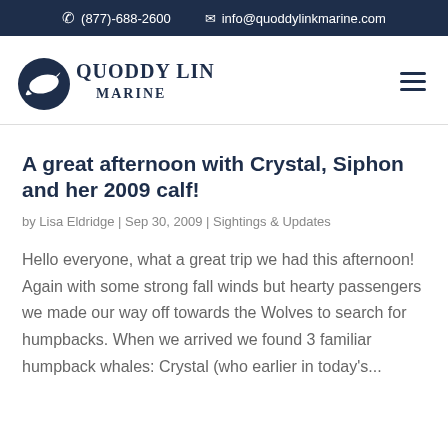(877)-688-2600  info@quoddylinkmarine.com
[Figure (logo): Quoddy Link Marine logo with whale graphic, dark navy text]
A great afternoon with Crystal, Siphon and her 2009 calf!
by Lisa Eldridge | Sep 30, 2009 | Sightings & Updates
Hello everyone, what a great trip we had this afternoon! Again with some strong fall winds but hearty passengers we made our way off towards the Wolves to search for humpbacks. When we arrived we found 3 familiar humpback whales: Crystal (who earlier in today's...